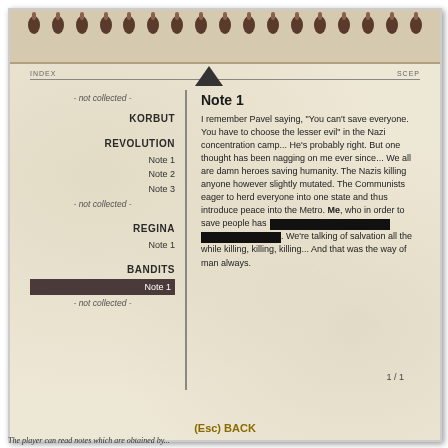[Figure (screenshot): Screenshot of an in-game journal/notebook interface from Metro video game, showing a spiral-bound notebook with an index on the left and a note on the right.]
INDEX    SCEP
- not collected -
KORBUT
REVOLUTION
Note 1
Note 2
Note 3
- not collected -
REGINA
Note 1
BANDITS
Note 1
- not collected -
Note 1
I remember Pavel saying, "You can't save everyone. You have to choose the lesser evil" in the Nazi concentration camp... He's probably right. But one thought has been nagging on me ever since... We all are damn heroes saving humanity. The Nazis killing anyone however slightly mutated. The Communists eager to herd everyone into one state and thus introduce peace into the Metro. Me, who in order to save people has [REDACTED]. We're talking of salvation all the while killing, killing, killing... And that was the way of man always.
1 / 1
(Esc) BACK
The player can read notes which are obtained by...